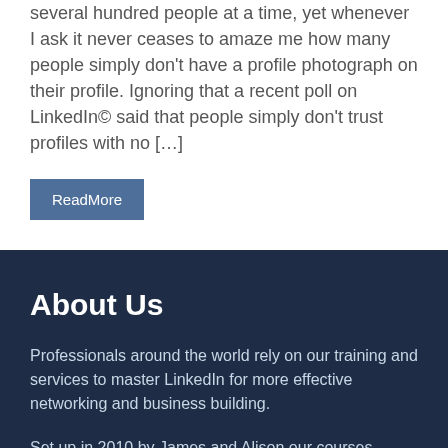several hundred people at a time, yet whenever I ask it never ceases to amaze me how many people simply don't have a profile photograph on their profile. Ignoring that a recent poll on LinkedIn© said that people simply don't trust profiles with no […]
ReadMore
About Us
Professionals around the world rely on our training and services to master LinkedIn for more effective networking and business building.
Set up in 2010 by James and Alison our courses, mentoring and consultancy services have helped executives in more than 70 countries around the world build successful LinkedIn and networking strategies to get the results they deserve.